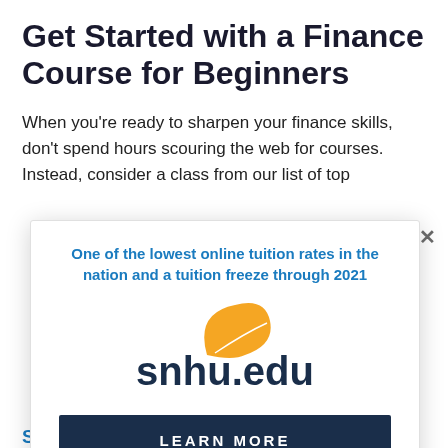Get Started with a Finance Course for Beginners
When you're ready to sharpen your finance skills, don't spend hours scouring the web for courses. Instead, consider a class from our list of top
One of the lowest online tuition rates in the nation and a tuition freeze through 2021
[Figure (logo): SNHU snhu.edu logo with orange leaf swoosh above text]
LEARN MORE
Small Account Secrets